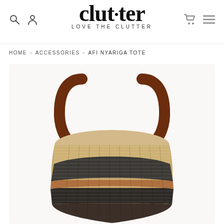clut·ter LOVE THE CLUTTER
HOME > ACCESSORIES > AFI NYARIGA TOTE
[Figure (photo): A woven basket tote bag with brown leather handles. The bag features natural straw weaving at the top and darker striped weaving (dark grey, tan/orange stripe) at the bottom.]